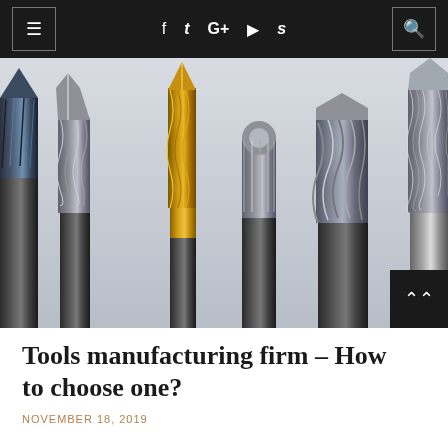≡  f  𝐭  G+  ▶  𝐒  🔍
[Figure (photo): Six cutting tools / end mills of various types standing upright against a light grey background. Tools include spiral flute end mills, a gold-colored drill bit, a ball nose end mill, and a multi-flute end mill.]
Tools manufacturing firm – How to choose one?
NOVEMBER 18, 2019